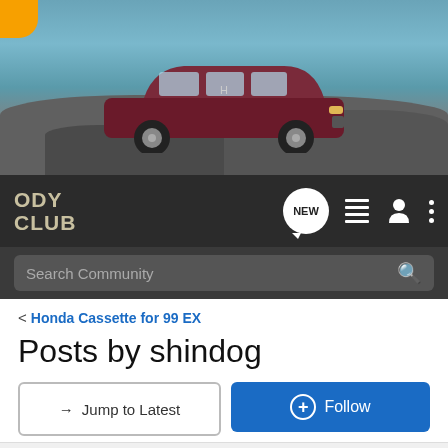[Figure (photo): Honda Odyssey minivan parked on rocky coastal scenery with water in background. Dark red/maroon color.]
ODY CLUB
Search Community
< Honda Cassette for 99 EX
Posts by shindog
→ Jump to Latest
+ Follow
1 - 2 of 2 Posts
shindog · Premium Member
Joined Nov 18, 2001 · 2,140 Posts